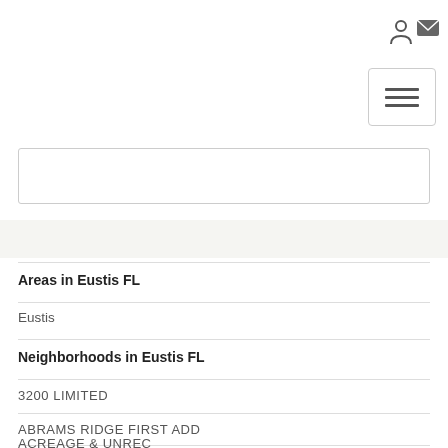[Figure (other): Navigation icons: login/user icon and envelope/mail icon in top right corner]
[Figure (other): Hamburger menu button (three horizontal lines) in a rounded rectangle]
[Figure (other): Search input bar]
Areas in Eustis FL
Eustis
Neighborhoods in Eustis FL
3200 LIMITED
ABRAMS RIDGE FIRST ADD
ACREAGE & UNREC